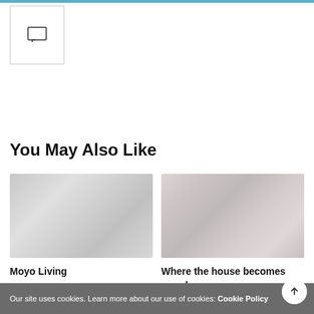[Figure (screenshot): Comment/chat icon with badge showing 0 inside a bordered box]
You May Also Like
[Figure (photo): Blurred thumbnail image for Moyo Living article]
Moyo Living
[Figure (photo): Blurred thumbnail image for Where the house becomes your home article]
Where the house becomes your home
Our site uses cookies. Learn more about our use of cookies: Cookie Policy